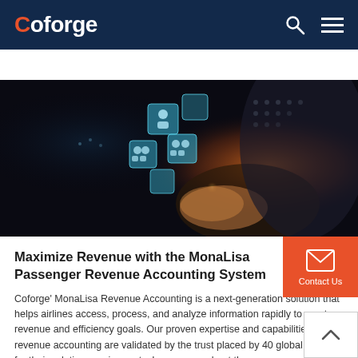Coforge
[Figure (photo): A person holding glowing digital floating icons representing user profiles and data, with light emanating from the hand — technology/digital transformation concept image with dark background.]
Maximize Revenue with the MonaLisa Passenger Revenue Accounting System
Coforge' MonaLisa Revenue Accounting is a next-generation solution that helps airlines access, process, and analyze information rapidly to meet revenue and efficiency goals. Our proven expertise and capabilities in revenue accounting are validated by the trust placed by 40 global airlines for their solution requirements. Learn more about the